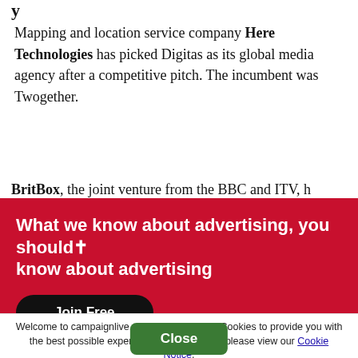Mapping and location service company Here Technologies has picked Digitas as its global media agency after a competitive pitch. The incumbent was Twogether.
BritBox, the joint venture from the BBC and ITV, h...
[Figure (infographic): Red promotional banner with white bold text reading 'What we know about advertising, you should know about advertising' and a black rounded 'Join Free' button.]
Welcome to campaignlive.com. This site uses Cookies to provide you with the best possible experience. To learn more please view our Cookie Notice.
Hyundai and Kia have appointed... as its media planning and buying agency for Europe...